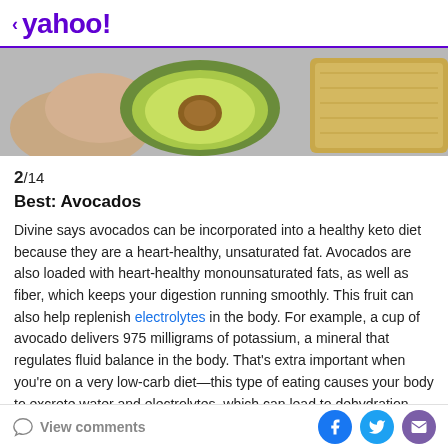< yahoo!
[Figure (photo): A hand holding a halved avocado showing the green flesh and pit, with a wooden cutting board in the background on a light surface.]
2/14
Best: Avocados
Divine says avocados can be incorporated into a healthy keto diet because they are a heart-healthy, unsaturated fat. Avocados are also loaded with heart-healthy monounsaturated fats, as well as fiber, which keeps your digestion running smoothly. This fruit can also help replenish electrolytes in the body. For example, a cup of avocado delivers 975 milligrams of potassium, a mineral that regulates fluid balance in the body. That's extra important when you're on a very low-carb diet—this type of eating causes your body to excrete water and electrolytes, which can lead to dehydration, dizziness, and
View comments | Facebook | Twitter | Email